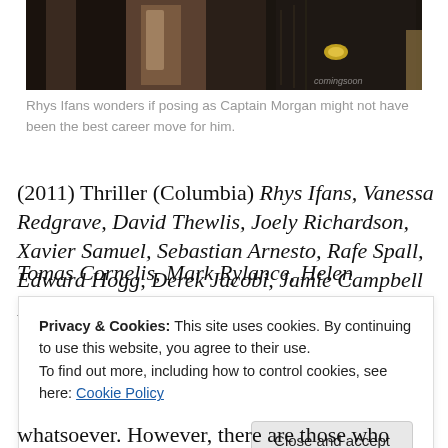[Figure (photo): A figure in dark period costume, possibly depicting a Renaissance-era character. Watermark 'comingsoon' visible in bottom right corner.]
Rhys Ifans wonders if posing as Captain Morgan might not have been the best career move for him.
(2011) Thriller (Columbia) Rhys Ifans, Vanessa Redgrave, David Thewlis, Joely Richardson, Xavier Samuel, Sebastian Arnesto, Rafe Spall, Edward Hogg, Derek Jacobi, Jamie Campbell Bower, Sam Reid, Paolo De Vita, [partially obscured text]
Privacy & Cookies: This site uses cookies. By continuing to use this website, you agree to their use. To find out more, including how to control cookies, see here: Cookie Policy
whatsoever. However, there are those who believe that